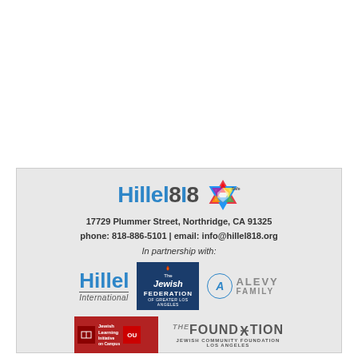[Figure (logo): Hillel818 logo with colorful Star of David Safe Space badge]
17729 Plummer Street, Northridge, CA 91325
phone: 818-886-5101 | email: info@hillel818.org
In partnership with:
[Figure (logo): Hillel International logo]
[Figure (logo): The Jewish Federation of Greater Los Angeles logo]
[Figure (logo): Alevy Family logo]
[Figure (logo): Jewish Learning Initiative on Campus logo]
[Figure (logo): The Foundation Jewish Community Foundation Los Angeles logo]